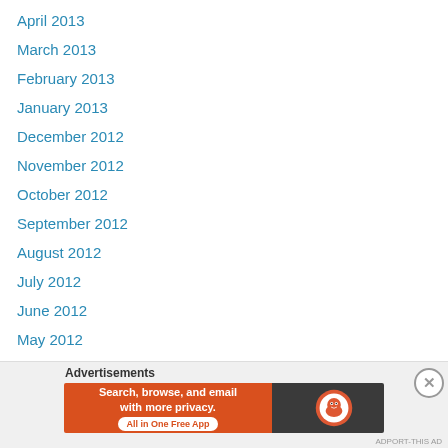April 2013
March 2013
February 2013
January 2013
December 2012
November 2012
October 2012
September 2012
August 2012
July 2012
June 2012
May 2012
April 2012
March 2012
February 2012
January 2012
Advertisements
[Figure (screenshot): DuckDuckGo advertisement banner: orange left panel with text 'Search, browse, and email with more privacy. All in One Free App', dark right panel with DuckDuckGo duck logo.]